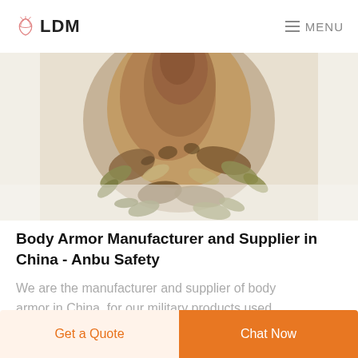LDM   MENU
[Figure (photo): Camouflage net/ghillie suit material piled up — sandy brown and olive tones against white background]
Body Armor Manufacturer and Supplier in China - Anbu Safety
We are the manufacturer and supplier of body armor in China, for our military products used
Get a Quote
Chat Now